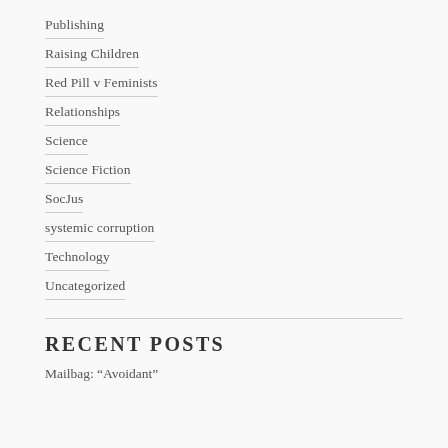Publishing
Raising Children
Red Pill v Feminists
Relationships
Science
Science Fiction
SocJus
systemic corruption
Technology
Uncategorized
RECENT POSTS
Mailbag: “Avoidant”